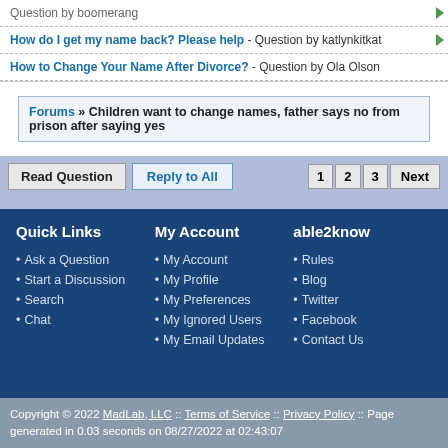Question by boomerang
How do I get my name back? Please help - Question by katlynkitkat
How to Change Your Name After Divorce? - Question by Ola Olson
Forums » Children want to change names, father says no from prison after saying yes
Read Question | Reply to All | 1 2 3 Next
Quick Links
Ask a Question
Start a Discussion
Search
Chat
My Account
My Account
My Profile
My Preferences
My Ignored Users
My Email Updates
able2know
Rules
Blog
Twitter
Facebook
Contact Us
Copyright © 2022 MadLab, LLC :: Terms of Service :: Privacy Policy :: Page generated in 0.03 seconds on 08/27/2022 at 02:43:07